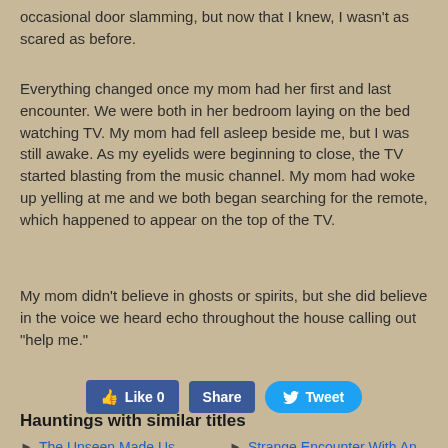occasional door slamming, but now that I knew, I wasn't as scared as before.
Everything changed once my mom had her first and last encounter. We were both in her bedroom laying on the bed watching TV. My mom had fell asleep beside me, but I was still awake. As my eyelids were beginning to close, the TV started blasting from the music channel. My mom had woke up yelling at me and we both began searching for the remote, which happened to appear on the top of the TV.
My mom didn't believe in ghosts or spirits, but she did believe in the voice we heard echo throughout the house calling out "help me."
[Figure (infographic): Social media buttons: Like 0 (Facebook), Share (Facebook), Tweet (Twitter)]
Hauntings with similar titles
The Unseen Made Us Transfer To A New Home
Strange Encounter With An Entity